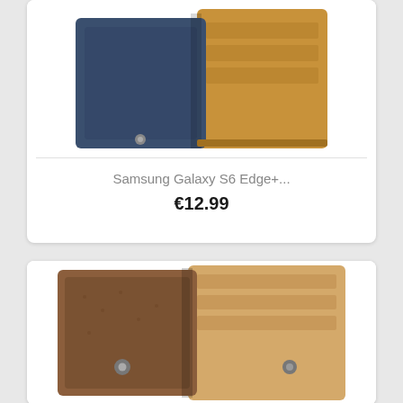[Figure (photo): Product photo of a leather wallet/phone case in navy blue and tan/brown colors, shown open displaying card slots, partial view cropped at top]
Samsung Galaxy S6 Edge+...
€12.99
[Figure (photo): Product photo of a brown leather wallet/phone case shown open, displaying tan interior with card slots and snap button closures]